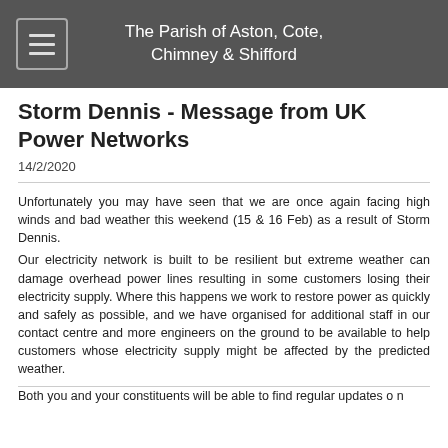The Parish of Aston, Cote, Chimney & Shifford
Storm Dennis - Message from UK Power Networks
14/2/2020
Unfortunately you may have seen that we are once again facing high winds and bad weather this weekend (15 & 16 Feb) as a result of Storm Dennis.
Our electricity network is built to be resilient but extreme weather can damage overhead power lines resulting in some customers losing their electricity supply. Where this happens we work to restore power as quickly and safely as possible, and we have organised for additional staff in our contact centre and more engineers on the ground to be available to help customers whose electricity supply might be affected by the predicted weather.
Both you and your constituents will be able to find regular updates o n